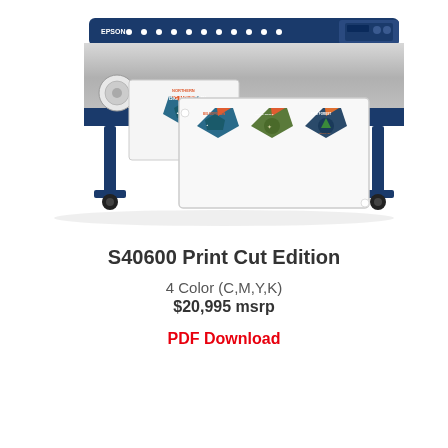[Figure (photo): Epson S40600 Print Cut Edition large format printer with printed sticker sheets featuring mountain and outdoor badge designs]
S40600 Print Cut Edition
4 Color (C,M,Y,K)
$20,995 msrp
PDF Download